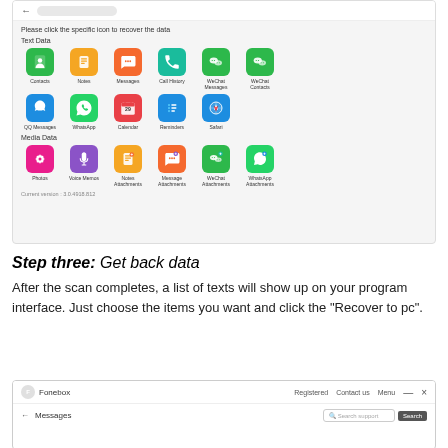[Figure (screenshot): Software UI screenshot showing data recovery categories. Top shows 'Please click the specific icon to recover the data'. Text Data section with icons: Contacts, Notes, Messages, Call History, WeChat Messages, WeChat Contacts, QQ Messages, WhatsApp, Calendar, Reminders, Safari. Media Data section with icons: Photos, Voice Memos, Notes Attachments, Message Attachments, WeChat Attachments, WhatsApp Attachments. Bottom shows 'Current version : 3.0.4918.812']
Step three: Get back data
After the scan completes, a list of texts will show up on your program interface. Just choose the items you want and click the "Recover to pc".
[Figure (screenshot): Bottom portion of Fonebox application window showing top navigation bar with Registered, Contact us, Menu options and back arrow with Messages label and Search support field]